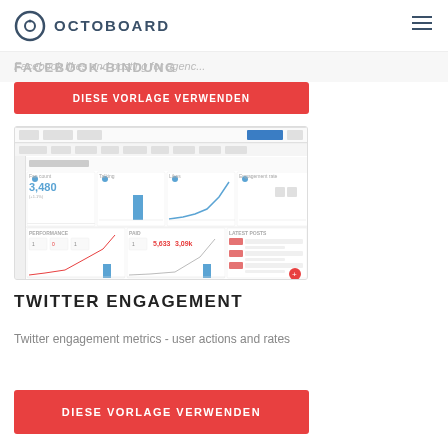OCTOBOARD
FACEBOOK-BINDUNG
Facebook likes and posting for agenc...
DIESE VORLAGE VERWENDEN
[Figure (screenshot): Octoboard dashboard screenshot showing Twitter engagement metrics with charts including a number widget showing 3,480, bar charts, line charts, and a latest posts feed panel]
TWITTER ENGAGEMENT
Twitter engagement metrics - user actions and rates
DIESE VORLAGE VERWENDEN